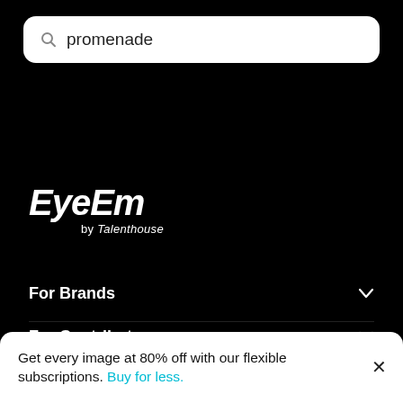[Figure (screenshot): Search bar with magnifying glass icon and text 'promenade' on white rounded rectangle background]
[Figure (logo): EyeEm by Talenthouse logo in white bold italic text on black background]
For Brands
For Contributors
Photography culture
Get every image at 80% off with our flexible subscriptions. Buy for less.